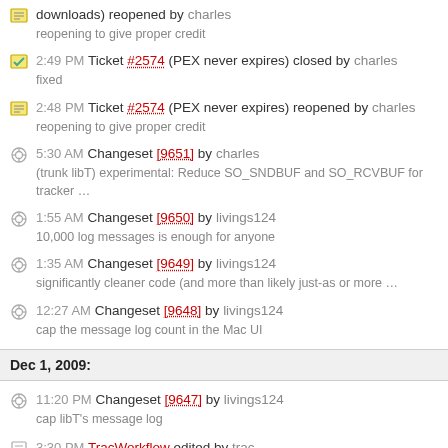downloads) reopened by charles
reopening to give proper credit
2:49 PM Ticket #2574 (PEX never expires) closed by charles
fixed
2:48 PM Ticket #2574 (PEX never expires) reopened by charles
reopening to give proper credit
5:30 AM Changeset [9651] by charles
(trunk libT) experimental: Reduce SO_SNDBUF and SO_RCVBUF for tracker ...
1:55 AM Changeset [9650] by livings124
10,000 log messages is enough for anyone
1:35 AM Changeset [9649] by livings124
significantly cleaner code (and more than likely just-as or more ...
12:27 AM Changeset [9648] by livings124
cap the message log count in the Mac UI
Dec 1, 2009:
11:20 PM Changeset [9647] by livings124
cap libT's message log
3:30 PM TracWorkflow edited by trac
(diff)